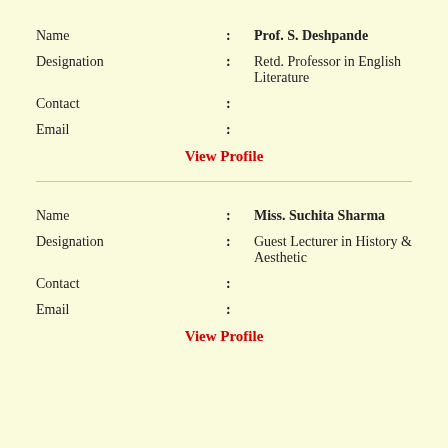Name : Prof. S. Deshpande
Designation : Retd. Professor in English Literature
Contact :
Email :
View Profile
Name : Miss. Suchita Sharma
Designation : Guest Lecturer in History & Aesthetic
Contact :
Email :
View Profile